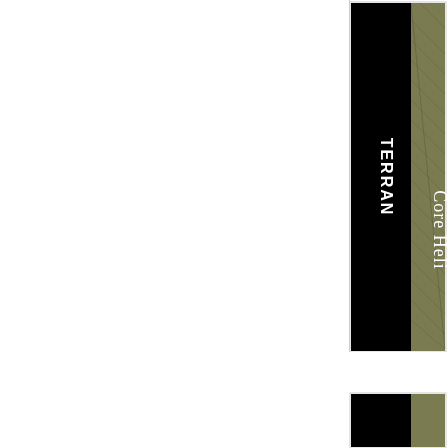[Figure (photo): Partially visible book or product cover spine rotated 90 degrees. Black background with white text reading 'TERRAN' and 'Core Heli' (partially cut off). Adjacent to a textured olive/khaki colored area. Upper right quadrant of the page.]
[Figure (photo): Partially visible book or product cover spine rotated 90 degrees. Black background with white text reading 'ORYLIAN COLLECTIVE', 'Core Helix - PFSC01', and 'Core Helix' (partially cut off). Adjacent to a textured olive/khaki colored area. Lower right quadrant of the page.]